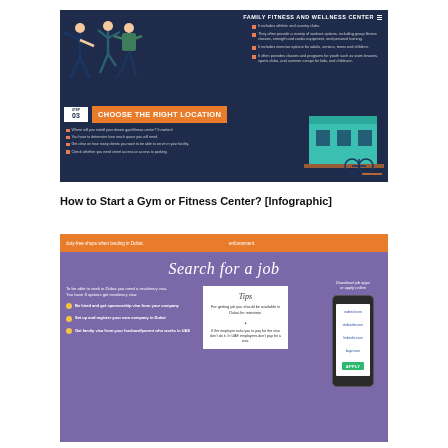[Figure (infographic): Family Fitness and Wellness Center infographic with step 03 - Choose the Right Location, showing stick figures exercising, bullet points about fitness center features, building illustration, and location checklist]
How to Start a Gym or Fitness Center? [Infographic]
[Figure (infographic): Search for a job infographic about working in Dubai. Tips box, phone with job apps (indeed.com, dubizzle.com, linkedin.com, bayt.com), and three options for getting residency visa.]